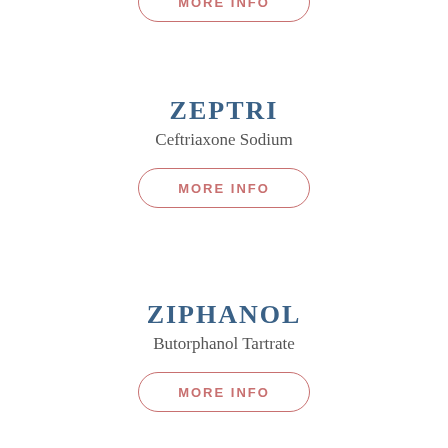[Figure (other): Partial 'MORE INFO' button at top of page, cut off]
ZEPTRI
Ceftriaxone Sodium
[Figure (other): MORE INFO button for ZEPTRI]
ZIPHANOL
Butorphanol Tartrate
[Figure (other): MORE INFO button for ZIPHANOL]